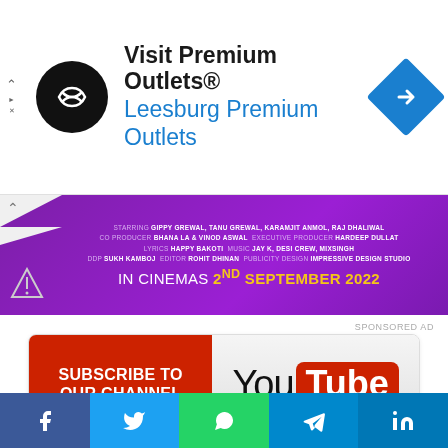[Figure (screenshot): Premium Outlets advertisement banner with circular black logo containing infinity-like symbol, text 'Visit Premium Outlets® Leesburg Premium Outlets', and blue diamond navigation arrow icon]
[Figure (screenshot): Purple cinema movie banner: STARRING GIPPY GREWAL, TANU GREWAL, KARAMJIT ANMOL, RAJ DHALIWAL. CO PRODUCER BHANA LA & VINOD ASWAL. EXECUTIVE PRODUCER HARDEEP DULLAT. LYRICS HAPPY BAKOTI. MUSIC JAY K, DESI CREW, MIXSINGH. DDP SUKH KAMBOJ. EDITOR ROHIT DHIYAN. PUBLICITY DESIGN IMPRESSIVE DESIGN STUDIO. IN CINEMAS 2ND SEPTEMBER 2022]
SPONSORED AD
[Figure (screenshot): YouTube subscribe banner: red left half with 'SUBSCRIBE TO OUR CHANNEL' in white bold text, grey right half with YouTube logo]
[Figure (illustration): Teal/light blue infographic banner with bubble icons: gear/settings, shopping bag with smile, airplane, clock, dollar coin, and target/bullseye icons on light blue background]
[Figure (screenshot): Social media share bar at bottom: Facebook (dark blue), Twitter (light blue), WhatsApp (green), Telegram (blue), LinkedIn (dark blue)]